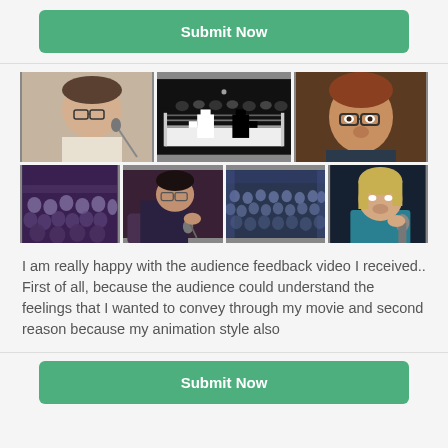Submit Now
[Figure (photo): Grid of 7 video stills: top row shows a man at a microphone, a boxing game screenshot (black and white), and a woman with glasses; bottom row shows audience at an event (2 shots), a man with glasses at microphone, and a woman with blonde hair holding a microphone.]
I am really happy with the audience feedback video I received.. First of all, because the audience could understand the feelings that I wanted to convey through my movie and second reason because my animation style also
Submit Now